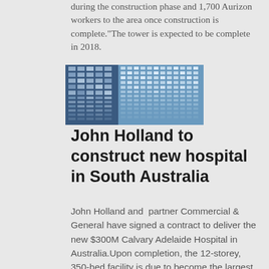during the construction phase and 1,700 Aurizon workers to the area once construction is complete."The tower is expected to be complete in 2018.
[Figure (photo): Photograph of a modern multi-storey building with blue glass facade and grid window pattern]
John Holland to construct new hospital in South Australia
John Holland and partner Commercial & General have signed a contract to deliver the new $300M Calvary Adelaide Hospital in Australia.Upon completion, the 12-storey, 350-bed facility is due to become the largest private hospital ever built in South Australia, replacing the existing